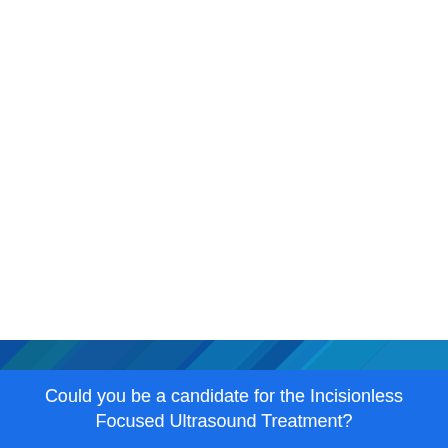[Figure (illustration): Decorative diagonal stripe band in shades of dark blue and teal/cyan on a dark blue background, spanning the full width of the page as a design element separator.]
Could you be a candidate for the Incisionless Focused Ultrasound Treatment?